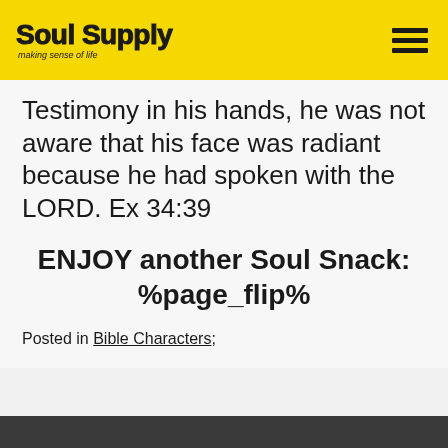Soul Supply — making sense of life
Testimony in his hands, he was not aware that his face was radiant because he had spoken with the LORD. Ex 34:39
ENJOY another Soul Snack: %page_flip%
Posted in Bible Characters;